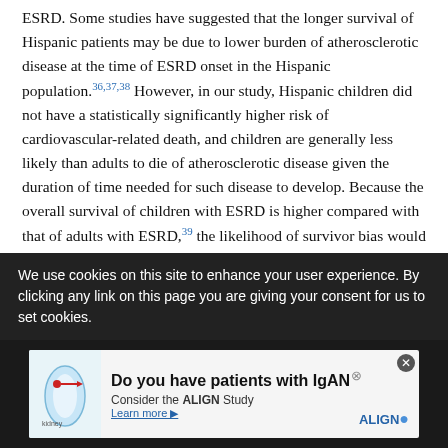ESRD. Some studies have suggested that the longer survival of Hispanic patients may be due to lower burden of atherosclerotic disease at the time of ESRD onset in the Hispanic population.36,37,38 However, in our study, Hispanic children did not have a statistically significantly higher risk of cardiovascular-related death, and children are generally less likely than adults to die of atherosclerotic disease given the duration of time needed for such disease to develop. Because the overall survival of children with ESRD is higher compared with that of adults with ESRD,39 the likelihood of survivor bias would be low in a pediatric ESRD cohort. Other hypotheses that have been proposed to explain the survival advantage of Hispanic patients treated with dialysis have included the salmon bias and the healthy migrant hypothesis, where sicker migrants may return to their
We use cookies on this site to enhance your user experience. By clicking any link on this page you are giving your consent for us to set cookies.
[Figure (infographic): Advertisement banner for ALIGN Study: 'Do you have patients with IgAN? Consider the ALIGN Study. Learn more.' with kidney illustration and ALIGN logo.]